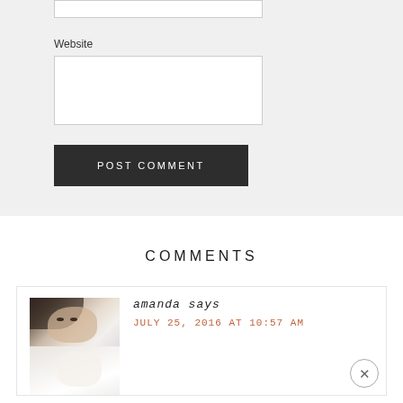Website
[Figure (other): Text input field for Website URL, empty white rectangle with border]
[Figure (other): POST COMMENT button, dark charcoal background with white uppercase text]
COMMENTS
[Figure (photo): Avatar photo of Amanda, a woman with dark hair, partially cropped, two-part image]
amanda says
JULY 25, 2016 AT 10:57 AM
[Figure (other): Close/dismiss button, circular with X symbol, bottom right corner]